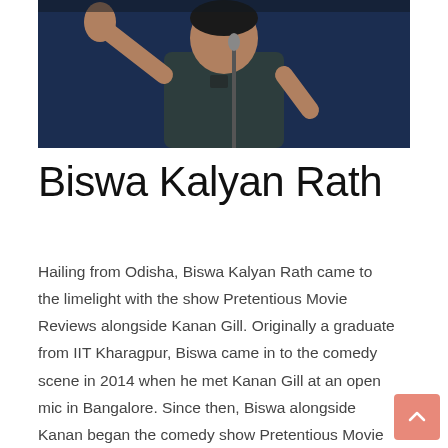[Figure (photo): A man in a dark t-shirt standing in front of a blue background, with one hand raised, performing on stage near a microphone.]
Biswa Kalyan Rath
Hailing from Odisha, Biswa Kalyan Rath came to the limelight with the show Pretentious Movie Reviews alongside Kanan Gill. Originally a graduate from IIT Kharagpur, Biswa came in to the comedy scene in 2014 when he met Kanan Gill at an open mic in Bangalore. Since then, Biswa alongside Kanan began the comedy show Pretentious Movie Reviews which was quite popular and famous. Biswa is one of the most popular